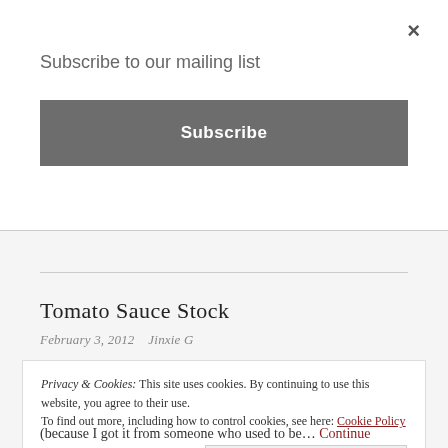×
Subscribe to our mailing list
Subscribe
Tomato Sauce Stock
February 3, 2012   Jinxie G
Privacy & Cookies: This site uses cookies. By continuing to use this website, you agree to their use.
To find out more, including how to control cookies, see here: Cookie Policy
Close and accept
(because I got it from someone who used to be... Continue